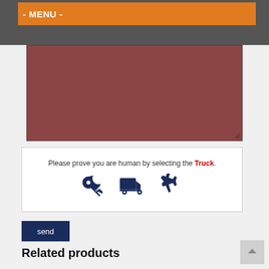- MENU -
[Figure (screenshot): Dark reddish-brown textarea input field, partially filled, with a resize handle at bottom-right]
Please prove you are human by selecting the Truck.
[Figure (illustration): CAPTCHA widget with three icons: a key, a truck, and an airplane, all in dark navy blue]
send
Related products